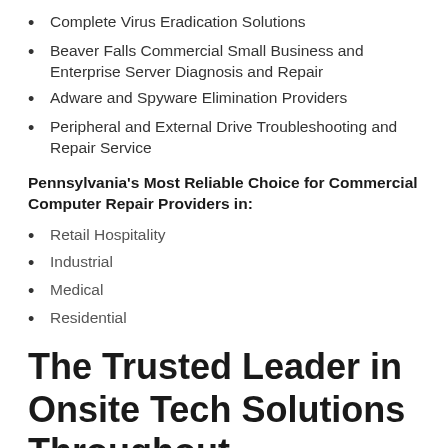Complete Virus Eradication Solutions
Beaver Falls Commercial Small Business and Enterprise Server Diagnosis and Repair
Adware and Spyware Elimination Providers
Peripheral and External Drive Troubleshooting and Repair Service
Pennsylvania's Most Reliable Choice for Commercial Computer Repair Providers in:
Retail Hospitality
Industrial
Medical
Residential
The Trusted Leader in Onsite Tech Solutions Throughout